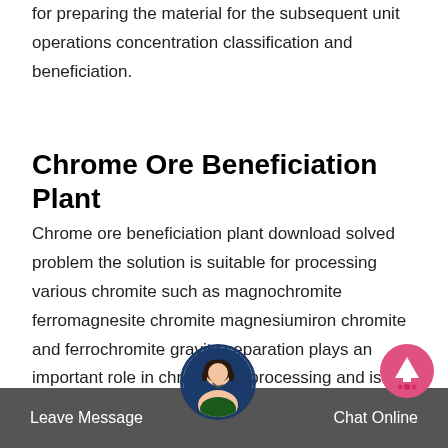for preparing the material for the subsequent unit operations concentration classification and beneficiation.
Chrome Ore Beneficiation Plant
Chrome ore beneficiation plant download solved problem the solution is suitable for processing various chromite such as magnochromite ferromagnesite chromite magnesiumiron chromite and ferrochromite gravity separation plays an important role in chrome ore processing and is the main method to concentrate chromium in the world.
China Chrome Beneficiation Plant Manufacturers
Leave Message
Chat Online